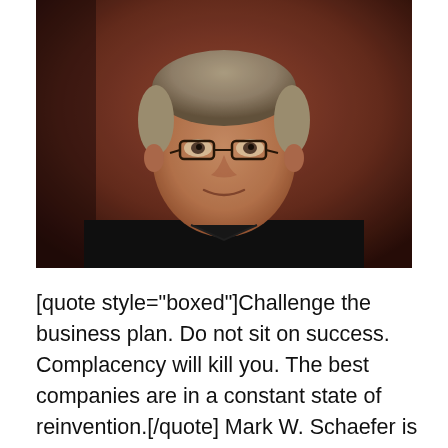[Figure (photo): Professional headshot of a middle-aged man with grey-blond hair, wearing glasses and a black jacket/shirt, seated against a dark reddish-brown background, smiling slightly at the camera.]
[quote style="boxed"]Challenge the business plan. Do not sit on success. Complacency will kill you. The best companies are in a constant state of reinvention.[/quote] Mark W. Schaefer is a globally